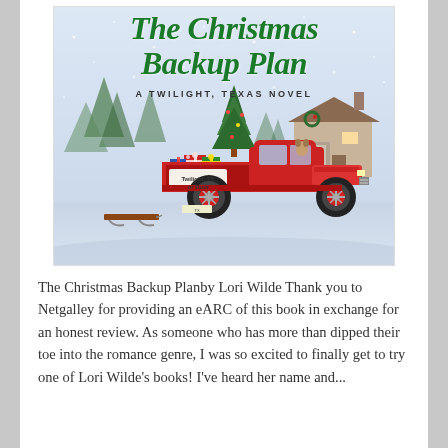[Figure (illustration): Book cover of 'The Christmas Backup Plan: A Twilight, Texas Novel' by Lori Wilde. Shows a vintage red pickup truck loaded with Christmas presents and a Christmas tree in its bed, with a sign reading 'Twilight, TX or Bust'. Snowy winter scene with a house and trees in the background.]
The Christmas Backup Planby Lori Wilde Thank you to Netgalley for providing an eARC of this book in exchange for an honest review. As someone who has more than dipped their toe into the romance genre, I was so excited to finally get to try one of Lori Wilde's books! I've heard her name and...